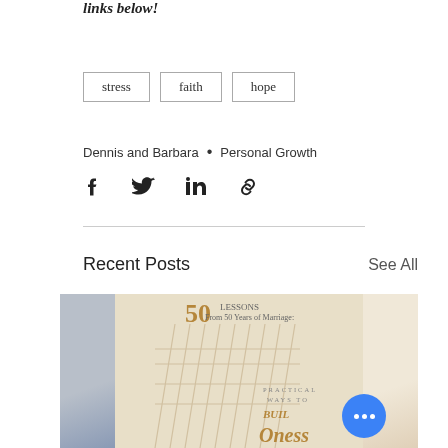links below!
stress
faith
hope
Dennis and Barbara • Personal Growth
[Figure (infographic): Social share icons: Facebook, Twitter, LinkedIn, link]
Recent Posts
See All
[Figure (photo): Three images side by side: a partial image on the left, a center book/macrame image with text '50 Lessons From 50 Years of Marriage' and 'Practical Ways to Build Oneness', and a partial image on the right. A blue circular button with three dots overlays the right side.]